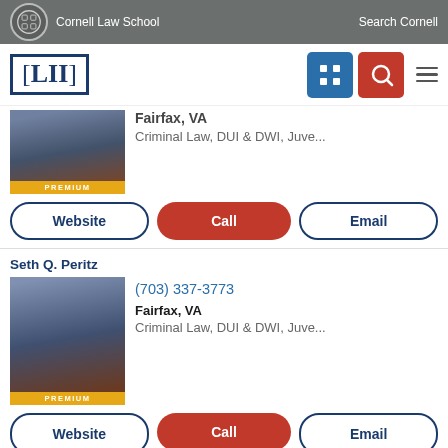Cornell Law School | Search Cornell
[Figure (logo): LII Legal Information Institute logo with navigation icons]
Fairfax, VA
Criminal Law, DUI & DWI, Juve...
Website | Call | Email
Seth Q. Peritz
(703) 337-3773
Fairfax, VA
Criminal Law, DUI & DWI, Juve...
Website | Call | Email
Steven M. Frei